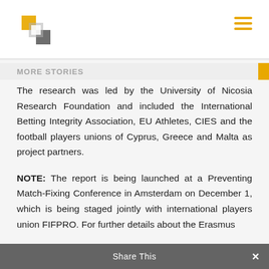MORE STORIES
The research was led by the University of Nicosia Research Foundation and included the International Betting Integrity Association, EU Athletes, CIES and the football players unions of Cyprus, Greece and Malta as project partners.
NOTE: The report is being launched at a Preventing Match-Fixing Conference in Amsterdam on December 1, which is being staged jointly with international players union FIFPRO. For further details about the Erasmus
Share This